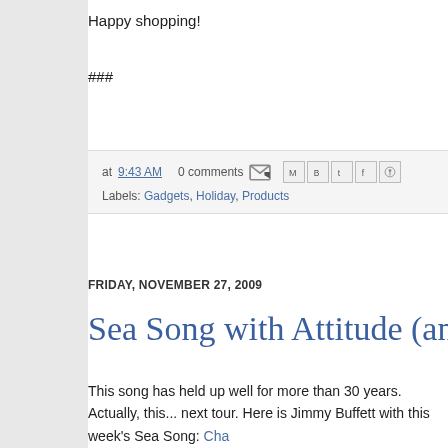Happy shopping!
###
at 9:43 AM   0 comments   [share icons]
Labels: Gadgets, Holiday, Products
FRIDAY, NOVEMBER 27, 2009
Sea Song with Attitude (and Latitude)
This song has held up well for more than 30 years. Actually, this... next tour. Here is Jimmy Buffett with this week's Sea Song: Cha...